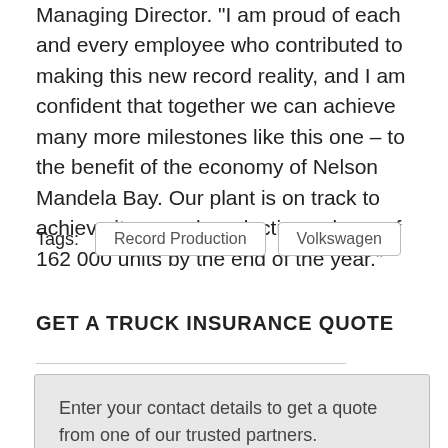Managing Director. "I am proud of each and every employee who contributed to making this new record reality, and I am confident that together we can achieve many more milestones like this one – to the benefit of the economy of Nelson Mandela Bay. Our plant is on track to achieve its record production volume of 162 000 units by the end of the year."
Tags:  Record Production  Volkswagen
GET A TRUCK INSURANCE QUOTE
Enter your contact details to get a quote from one of our trusted partners.